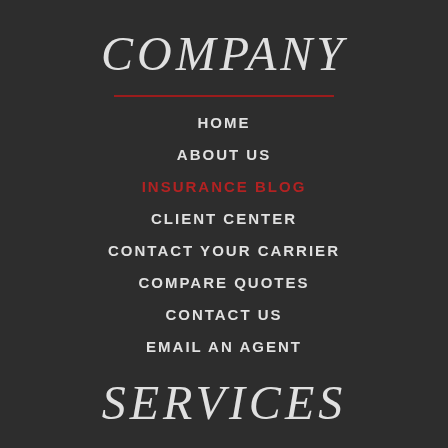COMPANY
HOME
ABOUT US
INSURANCE BLOG
CLIENT CENTER
CONTACT YOUR CARRIER
COMPARE QUOTES
CONTACT US
EMAIL AN AGENT
SERVICES